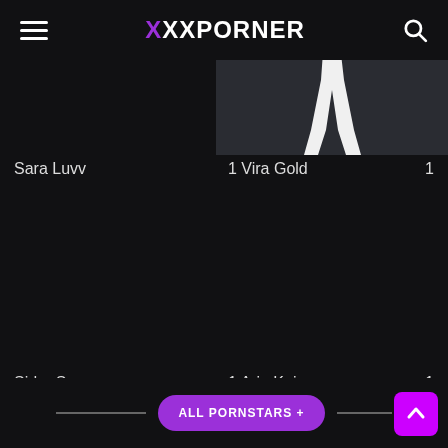XXXPORNER
[Figure (photo): Partial body silhouette thumbnail image on dark background]
Sara Luvv
1 Vira Gold 1
Sidra Sage
1 Aria Kai 1
ALL PORNSTARS +